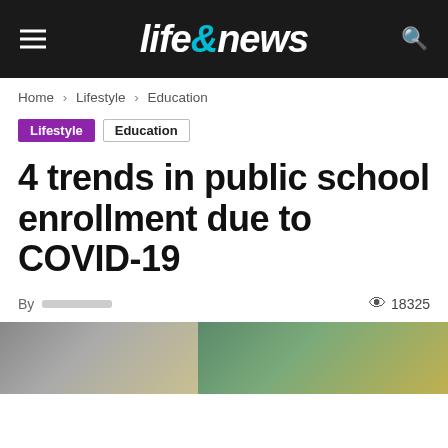life&news
Home › Lifestyle › Education
Lifestyle  Education
4 trends in public school enrollment due to COVID-19
By [author]  👁 18325
[Figure (photo): Hero image showing children in outdoor/school setting, split into two panels]